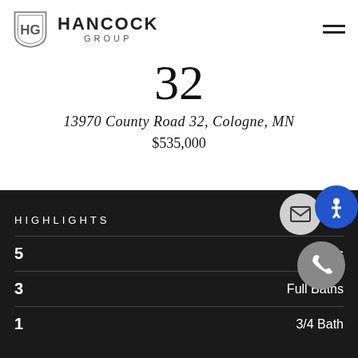[Figure (logo): Hancock Group logo with shield icon and company name]
32
13970 County Road 32, Cologne, MN
$535,000
HIGHLIGHTS
| Value | Label |
| --- | --- |
| 5 | Beds |
| 3 | Full Baths |
| 1 | 3/4 Bath |